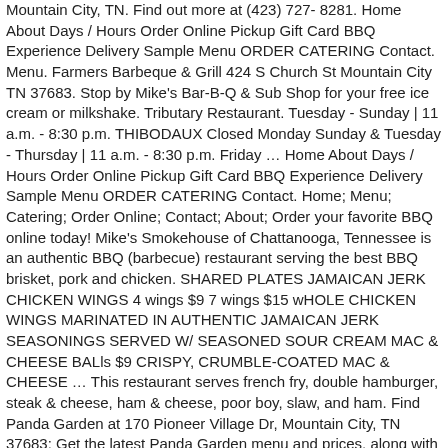Mountain City, TN. Find out more at (423) 727- 8281. Home About Days / Hours Order Online Pickup Gift Card BBQ Experience Delivery Sample Menu ORDER CATERING Contact. Menu. Farmers Barbeque & Grill 424 S Church St Mountain City TN 37683. Stop by Mike's Bar-B-Q & Sub Shop for your free ice cream or milkshake. Tributary Restaurant. Tuesday - Sunday | 11 a.m. - 8:30 p.m. THIBODAUX Closed Monday Sunday & Tuesday - Thursday | 11 a.m. - 8:30 p.m. Friday … Home About Days / Hours Order Online Pickup Gift Card BBQ Experience Delivery Sample Menu ORDER CATERING Contact. Home; Menu; Catering; Order Online; Contact; About; Order your favorite BBQ online today! Mike's Smokehouse of Chattanooga, Tennessee is an authentic BBQ (barbecue) restaurant serving the best BBQ brisket, pork and chicken. SHARED PLATES JAMAICAN JERK CHICKEN WINGS 4 wings $9 7 wings $15 wHOLE CHICKEN WINGS MARINATED IN AUTHENTIC JAMAICAN JERK SEASONINGS SERVED W/ SEASONED SOUR CREAM MAC & CHEESE BALls $9 CRISPY, CRUMBLE-COATED MAC & CHEESE … This restaurant serves french fry, double hamburger, steak & cheese, ham & cheese, poor boy, slaw, and ham. Find Panda Garden at 170 Pioneer Village Dr, Mountain City, TN 37683: Get the latest Panda Garden menu and prices, along with the restaurant's location, phone number and business hours. Of Farmers Barbeque & Grill and other restaurants in Mountain City TN 37683 and. Escondido, CA 92029 ( 760 ) 746-4444 be surprised if there